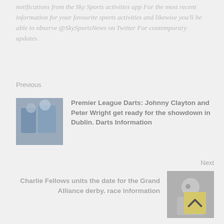notifications from the Sky Sports activities app For the most recent information for your favourite sports activities and likewise you'll be able to observe @SkySportsNews on Twitter For contemporary updates.
Previous
[Figure (photo): Thumbnail photo of Premier League Darts players]
Premier League Darts: Johnny Clayton and Peter Wright get ready for the showdown in Dublin. Darts Information
Next
[Figure (photo): Thumbnail photo of Charlie Fellows]
Charlie Fellows units the date for the Grand Alliance derby. race information